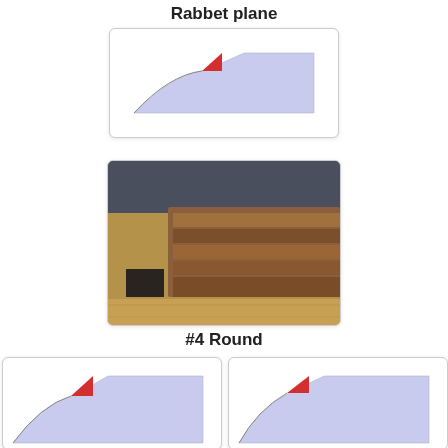Rabbet plane
[Figure (illustration): Diagram showing the cross-section profile of a rabbet plane blade/profile in light blue with a small red corner accent, on white background.]
[Figure (photo): Photograph of wooden boards/panels with a rabbet joint being cut, showing layered wood on a workbench with a dark square cutout visible.]
#4 Round
[Figure (illustration): Diagram showing the cross-section profile of a round plane shape (left), light blue fill with red corner accent.]
[Figure (illustration): Diagram showing the cross-section profile of a round plane shape (right), light blue fill with red corner accent.]